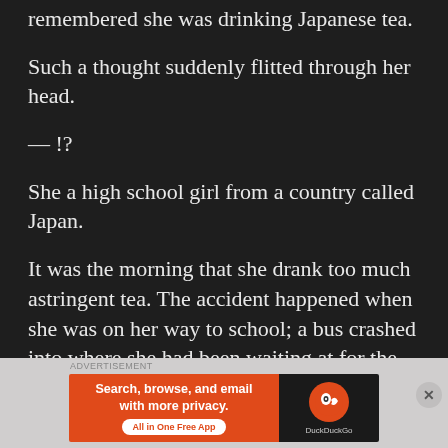remembered she was drinking Japanese tea.
Such a thought suddenly flitted through her head.
— !?
She a high school girl from a country called Japan.
It was the morning that she drank too much astringent tea. The accident happened when she was on her way to school; a bus crashed into where she had been waiting at for the traffic light
[Figure (screenshot): DuckDuckGo advertisement banner: orange left panel with 'Search, browse, and email with more privacy. All in One Free App' and dark right panel with DuckDuckGo logo]